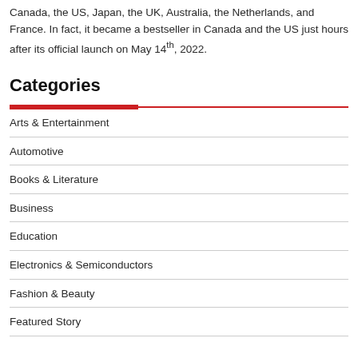Canada, the US, Japan, the UK, Australia, the Netherlands, and France. In fact, it became a bestseller in Canada and the US just hours after its official launch on May 14th, 2022.
Categories
Arts & Entertainment
Automotive
Books & Literature
Business
Education
Electronics & Semiconductors
Fashion & Beauty
Featured Story